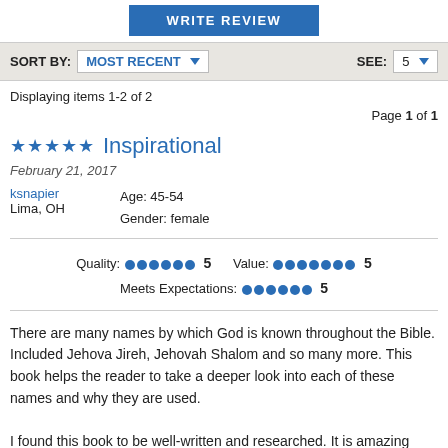[Figure (other): WRITE REVIEW button in blue]
SORT BY: MOST RECENT ▼   SEE: 5 ▼
Displaying items 1-2 of 2
Page 1 of 1
★★★★★  Inspirational
February 21, 2017
ksnapier   Age: 45-54
Lima, OH   Gender: female
Quality: ●●●●●● 5   Value: ●●●●●●● 5
Meets Expectations: ●●●●●● 5
There are many names by which God is known throughout the Bible. Included Jehova Jireh, Jehovah Shalom and so many more. This book helps the reader to take a deeper look into each of these names and why they are used.

I found this book to be well-written and researched. It is amazing how many names there are for God and what each of them mean. I recommend